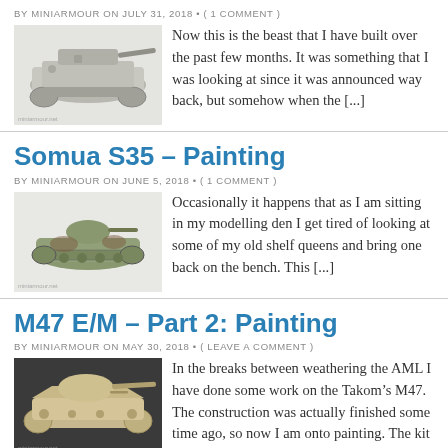BY MINIARMOUR ON JULY 31, 2018 • ( 1 COMMENT )
[Figure (photo): Scale model of a self-propelled artillery vehicle, light grey color]
Now this is the beast that I have built over the past few months. It was something that I was looking at since it was announced way back, but somehow when the [...]
Somua S35 – Painting
BY MINIARMOUR ON JUNE 5, 2018 • ( 1 COMMENT )
[Figure (photo): Scale model of a Somua S35 tank, green and brown camouflage]
Occasionally it happens that as I am sitting in my modelling den I get tired of looking at some of my old shelf queens and bring one back on the bench. This [...]
M47 E/M – Part 2: Painting
BY MINIARMOUR ON MAY 30, 2018 • ( LEAVE A COMMENT )
[Figure (photo): Scale model of an M47 Patton tank, light sand/beige color]
In the breaks between weathering the AML I have done some work on the Takom's M47. The construction was actually finished some time ago, so now I am onto painting. The kit [...]